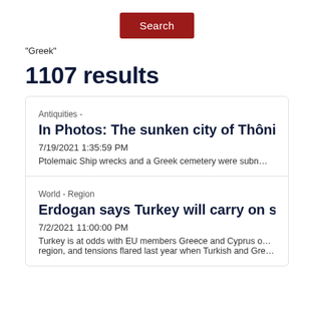[Figure (screenshot): Red Search button centered at top]
"Greek"
1107 results
Antiquities -
In Photos: The sunken city of Thônis-Hera... archaeological treasures
7/19/2021 1:35:59 PM
Ptolemaic Ship wrecks and a Greek cemetery were subn...
World - Region
Erdogan says Turkey will carry on searchi...
7/2/2021 11:00:00 PM
Turkey is at odds with EU members Greece and Cyprus o... region, and tensions flared last year when Turkish and Gre...